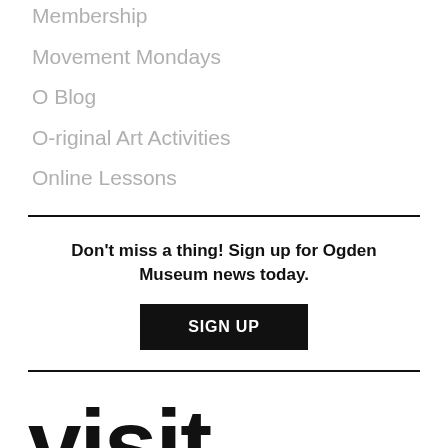Membership
Movement Mondays
O Blog
O-riginal Art Activities
Online Lessons
Don't miss a thing! Sign up for Ogden Museum news today.
SIGN UP
visit events